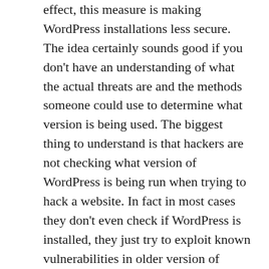effect, this measure is making WordPress installations less secure. The idea certainly sounds good if you don't have an understanding of what the actual threats are and the methods someone could use to determine what version is being used. The biggest thing to understand is that hackers are not checking what version of WordPress is being run when trying to hack a website. In fact in most cases they don't even check if WordPress is installed, they just try to exploit known vulnerabilities in older version of WordPress at locations that WordPress might be installed (they also attempt to exploit other software that might be located on a website as well). So no matter how hard you try to hide